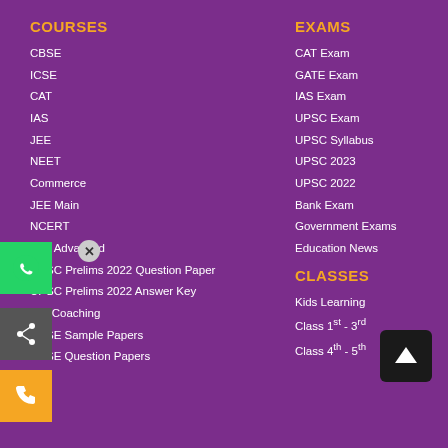COURSES
CBSE
ICSE
CAT
IAS
JEE
NEET
Commerce
JEE Main
NCERT
JEE Advanced
UPSC Prelims 2022 Question Paper
UPSC Prelims 2022 Answer Key
IAS Coaching
CBSE Sample Papers
CBSE Question Papers
EXAMS
CAT Exam
GATE Exam
IAS Exam
UPSC Exam
UPSC Syllabus
UPSC 2023
UPSC 2022
Bank Exam
Government Exams
Education News
CLASSES
Kids Learning
Class 1st - 3rd
Class 4th - 5th